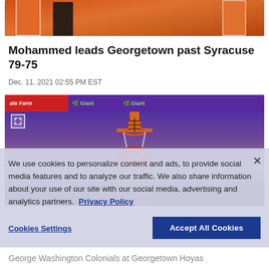[Figure (photo): Basketball game photo showing players in orange and black uniforms, cropped at top]
Mohammed leads Georgetown past Syracuse 79-75
Dec. 11, 2021 02:55 PM EST
[Figure (photo): Basketball player dunking at Georgetown Hoyas game, with State Farm and Giant banners visible]
We use cookies to personalize content and ads, to provide social media features and to analyze our traffic. We also share information about your use of our site with our social media, advertising and analytics partners. Privacy Policy
Cookies Settings   Accept All Cookies
George Washington Colonials at Georgetown Hoyas